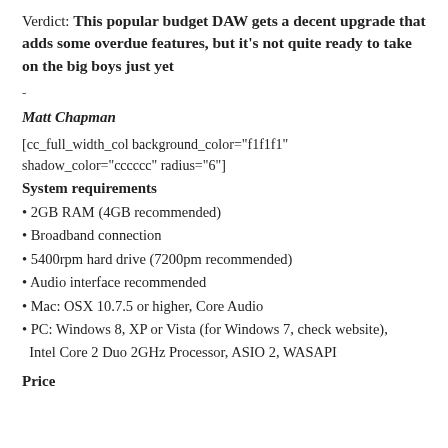Verdict: This popular budget DAW gets a decent upgrade that adds some overdue features, but it’s not quite ready to take on the big boys just yet
-
Matt Chapman
[cc_full_width_col background_color="f1f1f1" shadow_color="cccccc" radius="6"]
System requirements
2GB RAM (4GB recommended)
Broadband connection
5400rpm hard drive (7200pm recommended)
Audio interface recommended
Mac: OSX 10.7.5 or higher, Core Audio
PC: Windows 8, XP or Vista (for Windows 7, check website), Intel Core 2 Duo 2GHz Processor, ASIO 2, WASAPI
Price